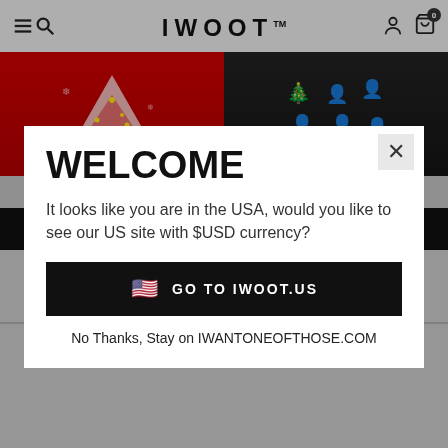IWOOT™
[Figure (screenshot): E-commerce website page showing two Christmas sweater products on grey background with prices £24.99 each and QUICK BUY buttons]
WELCOME
It looks like you are in the USA, would you like to see our US site with $USD currency?
GO TO IWOOT.US
No Thanks, Stay on IWANTONEOFTHOSE.COM